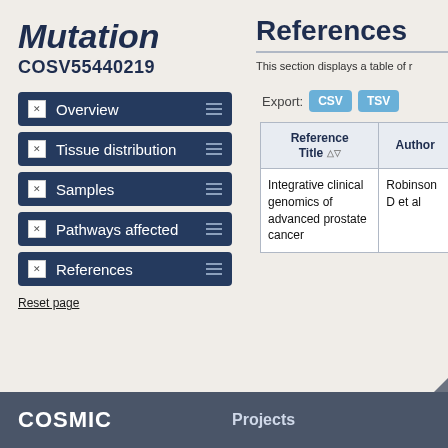Mutation COSV55440219
Overview
Tissue distribution
Samples
Pathways affected
References
Reset page
References
This section displays a table of references
Export: CSV TSV
| Reference Title | Author |
| --- | --- |
| Integrative clinical genomics of advanced prostate cancer | Robinson D et al |
COSMIC   Projects